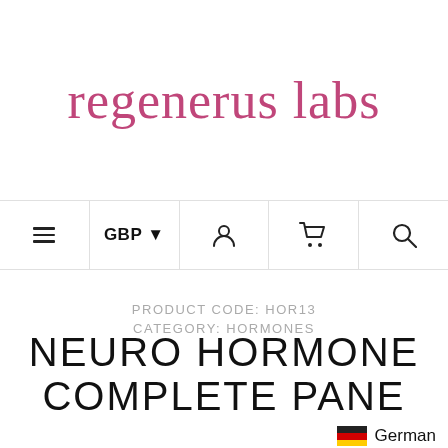[Figure (logo): Regenerus Labs logo — pink/rose lowercase serif text on white background]
≡  GBP ▾  👤  🛒  🔍
PRODUCT CODE: HOR13
CATEGORY: HORMONES
NEURO HORMONE COMPLETE PANE